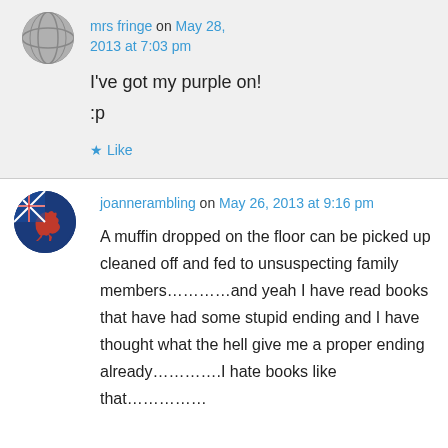mrs fringe on May 28, 2013 at 7:03 pm
I've got my purple on!
:p
Like
joannerambling on May 26, 2013 at 9:16 pm
A muffin dropped on the floor can be picked up cleaned off and fed to unsuspecting family members…………and yeah I have read books that have had some stupid ending and I have thought what the hell give me a proper ending already………….I hate books like that……………